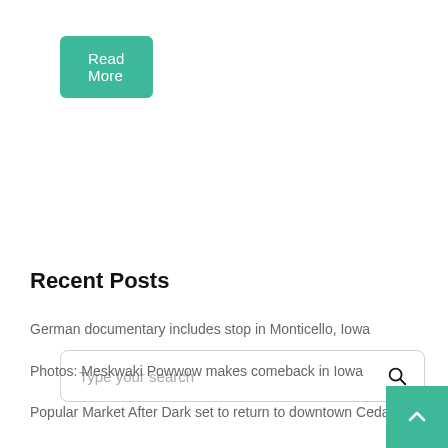Read More
Type your search
Recent Posts
German documentary includes stop in Monticello, Iowa
Photos: Meskwaki Powwow makes comeback in Iowa
Popular Market After Dark set to return to downtown Cedar
“Your buddy, Mike” Letters returned to Iowa veteran 78 years after friend killed in World War II